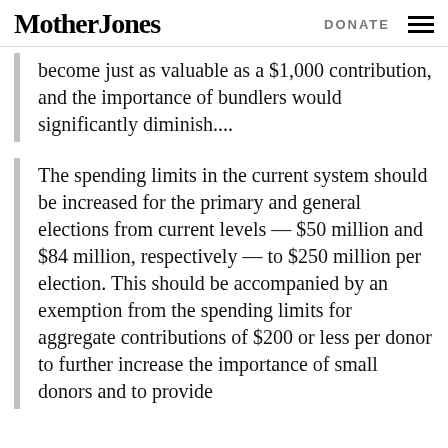Mother Jones   DONATE
become just as valuable as a $1,000 contribution, and the importance of bundlers would significantly diminish....
The spending limits in the current system should be increased for the primary and general elections from current levels — $50 million and $84 million, respectively — to $250 million per election. This should be accompanied by an exemption from the spending limits for aggregate contributions of $200 or less per donor to further increase the importance of small donors and to provide